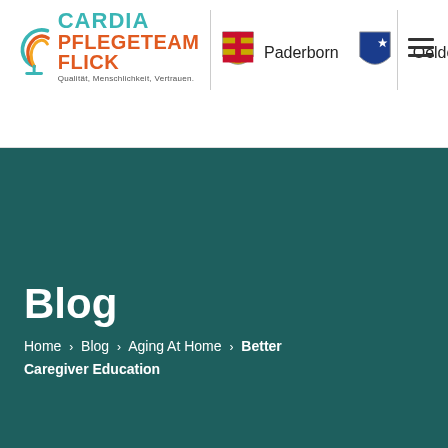[Figure (logo): Cardia Pflegeteam Flick logo with teal and orange text, spiral icon, and slogan Qualität, Menschlichkeit, Vertrauen.]
[Figure (logo): Coat of arms of Paderborn — shield with yellow and red stripes]
[Figure (logo): Coat of arms of Oelde — blue shield with crescent moon star]
Paderborn   Oelde
Blog
Home › Blog › Aging At Home › Better Caregiver Education